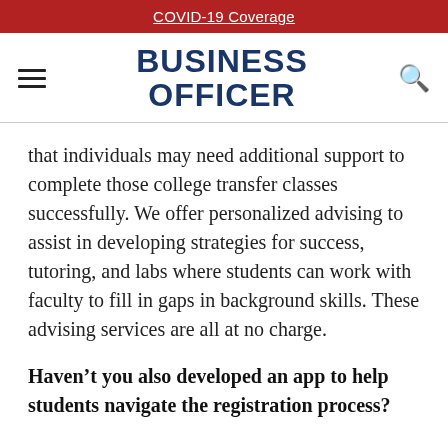COVID-19 Coverage
BUSINESS OFFICER
that individuals may need additional support to complete those college transfer classes successfully. We offer personalized advising to assist in developing strategies for success, tutoring, and labs where students can work with faculty to fill in gaps in background skills. These advising services are all at no charge.
Haven’t you also developed an app to help students navigate the registration process?